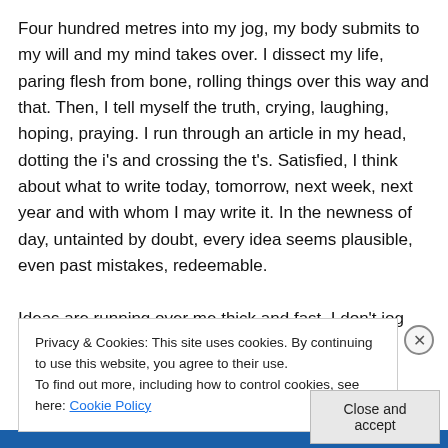Four hundred metres into my jog, my body submits to my will and my mind takes over. I dissect my life, paring flesh from bone, rolling things over this way and that. Then, I tell myself the truth, crying, laughing, hoping, praying. I run through an article in my head, dotting the i's and crossing the t's. Satisfied, I think about what to write today, tomorrow, next week, next year and with whom I may write it. In the newness of day, untainted by doubt, every idea seems plausible, even past mistakes, redeemable.
Ideas are running over me thick and fast. I don't jog with
Privacy & Cookies: This site uses cookies. By continuing to use this website, you agree to their use.
To find out more, including how to control cookies, see here: Cookie Policy
Close and accept